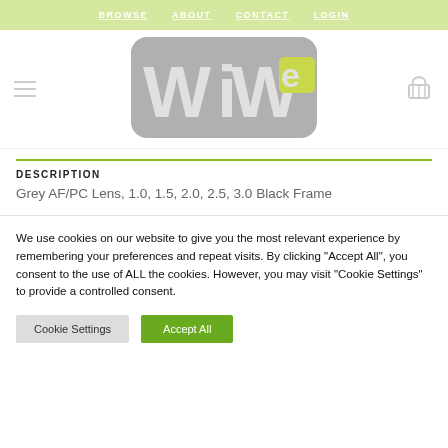BROWSE   ABOUT   CONTACT   LOGIN
[Figure (logo): WiWe logo — stylized grey letters W, i, W with a yellow-green 'e' on a rounded rectangle background]
DESCRIPTION
Grey AF/PC Lens, 1.0, 1.5, 2.0, 2.5, 3.0 Black Frame
We use cookies on our website to give you the most relevant experience by remembering your preferences and repeat visits. By clicking "Accept All", you consent to the use of ALL the cookies. However, you may visit "Cookie Settings" to provide a controlled consent.